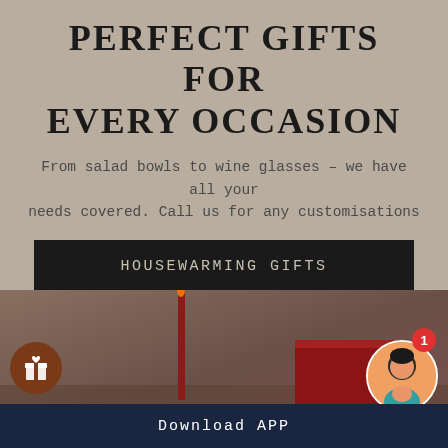PERFECT GIFTS FOR EVERY OCCASION
From salad bowls to wine glasses – we have all your needs covered. Call us for any customisations
HOUSEWARMING GIFTS
WEDDING GIFTS
[Figure (photo): Dark moody photo with a tall red taper candle and a red book/gift box on a brown table surface]
Download APP